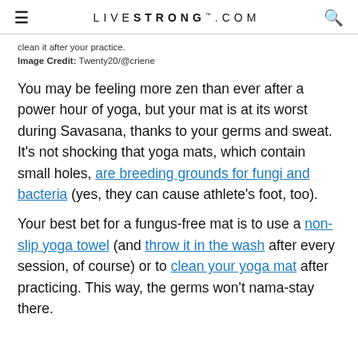LIVESTRONG.COM
clean it after your practice.
Image Credit: Twenty20/@criene
You may be feeling more zen than ever after a power hour of yoga, but your mat is at its worst during Savasana, thanks to your germs and sweat. It's not shocking that yoga mats, which contain small holes, are breeding grounds for fungi and bacteria (yes, they can cause athlete's foot, too).
Your best bet for a fungus-free mat is to use a non-slip yoga towel (and throw it in the wash after every session, of course) or to clean your yoga mat after practicing. This way, the germs won't nama-stay there.